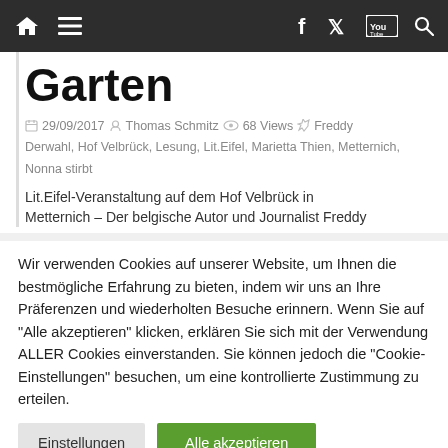Navigation bar with home, menu, facebook, twitter, youtube, search icons
Garten
29/09/2017  Thomas Schmitz  68 Views  Freddy Derwahl, Hof Velbrück, Lesung, Lit.Eifel, Marietta Thien, Metternich, Nonna stirbt
Lit.Eifel-Veranstaltung auf dem Hof Velbrück in Metternich – Der belgische Autor und Journalist Freddy
Wir verwenden Cookies auf unserer Website, um Ihnen die bestmögliche Erfahrung zu bieten, indem wir uns an Ihre Präferenzen und wiederholten Besuche erinnern. Wenn Sie auf "Alle akzeptieren" klicken, erklären Sie sich mit der Verwendung ALLER Cookies einverstanden. Sie können jedoch die "Cookie-Einstellungen" besuchen, um eine kontrollierte Zustimmung zu erteilen.
Einstellungen | Alle akzeptieren